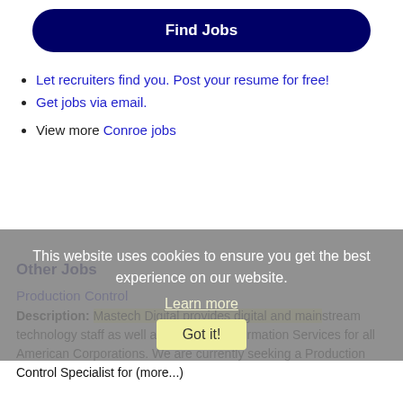[Figure (other): Find Jobs button — dark navy blue rounded rectangle button with white bold text 'Find Jobs']
Let recruiters find you. Post your resume for free!
Get jobs via email.
View more Conroe jobs
This website uses cookies to ensure you get the best experience on our website. Learn more Got it!
Other Jobs
Production Control
Description: Mastech Digital provides digital and mainstream technology staff as well as Digital Transformation Services for all American Corporations. We are currently seeking a Production Control Specialist for (more...)